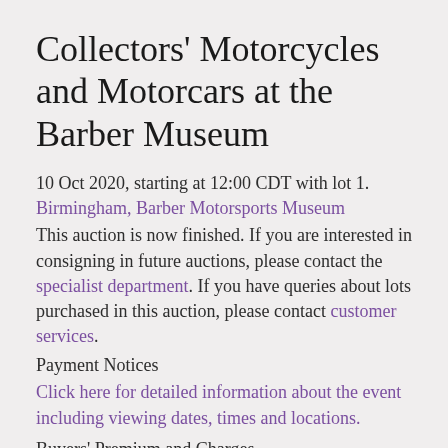Collectors' Motorcycles and Motorcars at the Barber Museum
10 Oct 2020, starting at 12:00 CDT with lot 1.
Birmingham, Barber Motorsports Museum
This auction is now finished. If you are interested in consigning in future auctions, please contact the specialist department. If you have queries about lots purchased in this auction, please contact customer services.
Payment Notices
Click here for detailed information about the event including viewing dates, times and locations.
Buyers' Premium and Charges
Please Note the Buyer's Premium for this auction is as follows:
The first bid (hammer price) of each lot will be subject to...